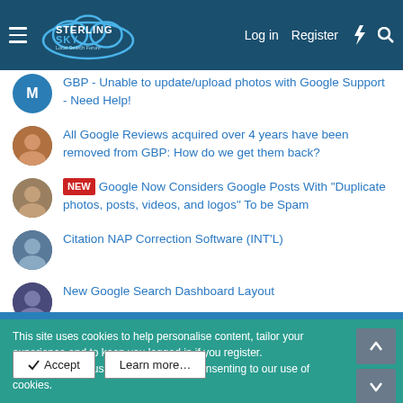Sterling Sky Local Search Forum — Log in | Register
GBP - Unable to update/upload photos with Google Support - Need Help!
All Google Reviews acquired over 4 years have been removed from GBP: How do we get them back?
NEW — Google Now Considers Google Posts With "Duplicate photos, posts, videos, and logos" To be Spam
Citation NAP Correction Software (INT'L)
New Google Search Dashboard Layout
This site uses cookies to help personalise content, tailor your experience and to keep you logged in if you register. By continuing to use this site, you are consenting to our use of cookies.